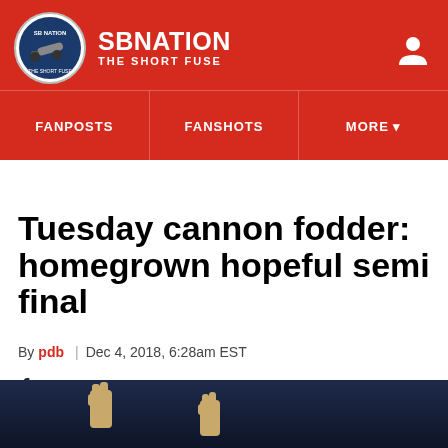SB NATION — THE SHORT FUSE
Tuesday cannon fodder: homegrown hopeful semi final
By pdb | Dec 4, 2018, 6:28am EST
SHARE
[Figure (photo): Dark background photo showing raised fists, partially visible at bottom of page]